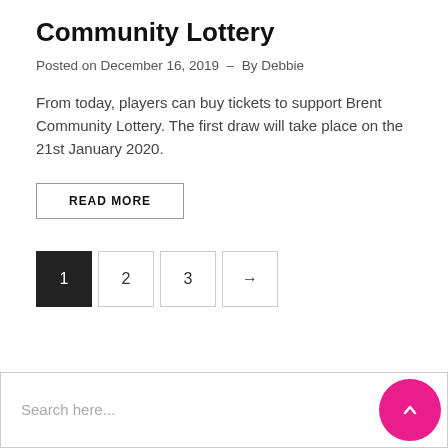Community Lottery
Posted on December 16, 2019  -  By Debbie
From today, players can buy tickets to support Brent Community Lottery. The first draw will take place on the 21st January 2020.
READ MORE
1  2  3  →
Search here...